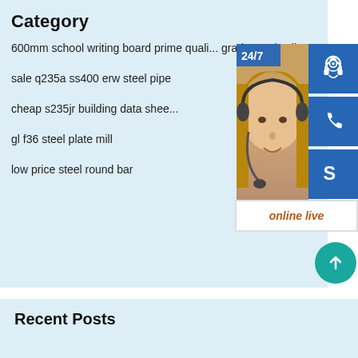Category
600mm school writing board prime quality grade steel coil
sale q235a ss400 erw steel pipe
cheap s235jr building data sheet
gl f36 steel plate mill
low price steel round bar
[Figure (infographic): Customer support widget with 24/7 label, headset icon, phone icon, Skype icon, online live button, and scroll-to-top button]
Recent Posts